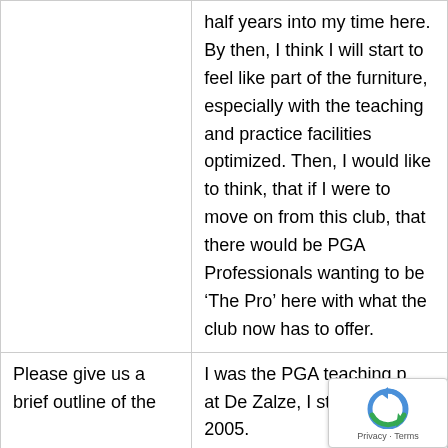|  | half years into my time here. By then, I think I will start to feel like part of the furniture, especially with the teaching and practice facilities optimized. Then, I would like to think, that if I were to move on from this club, that there would be PGA Professionals wanting to be ‘The Pro’ here with what the club now has to offer. |
| Please give us a brief outline of the | I was the PGA teaching p... at De Zalze, I started in 2005. |